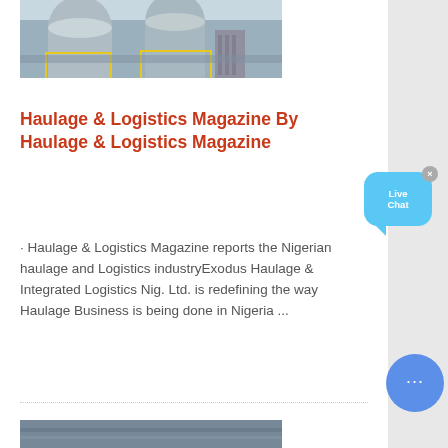[Figure (photo): Industrial machinery/equipment photo, partially visible at top of page - shows large industrial tanks or silos with yellow railings and metal structures]
Haulage & Logistics Magazine By Haulage & Logistics Magazine
· Haulage & Logistics Magazine reports the Nigerian haulage and Logistics industryExodus Haulage & Integrated Logistics Nig. Ltd. is redefining the way Haulage Business is being done in Nigeria ...
[Figure (photo): Partially visible photo at the bottom of the page]